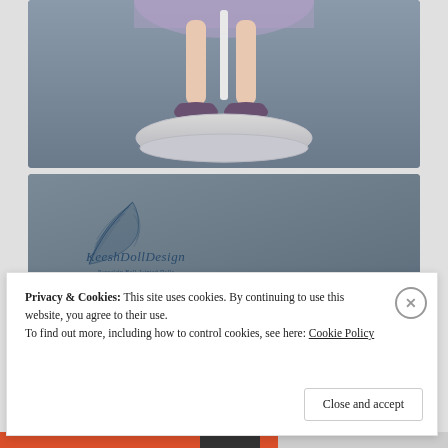[Figure (photo): Close-up photo of a porcelain ball-jointed doll's legs and feet wearing purple shoes, standing on a round white/gray base, with a purple dress/skirt, against a gray background.]
[Figure (photo): Photo showing the top of a doll's head with dark/black hair, against a gray background. The KeeshDollDesign logo (feather illustration) and text 'Porcelain Ball-Jointed Dolls by Ksenia Scheuder' visible in upper left.]
Privacy & Cookies: This site uses cookies. By continuing to use this website, you agree to their use.
To find out more, including how to control cookies, see here: Cookie Policy
Close and accept